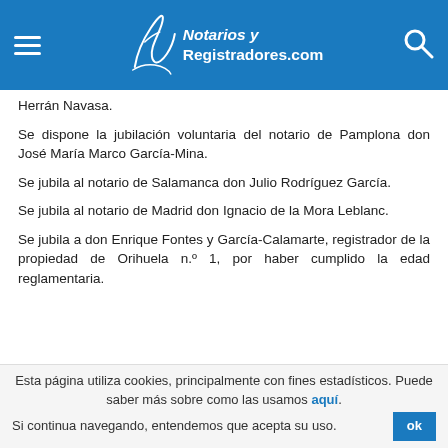Notarios y Registradores.com
Herrán Navasa.
Se dispone la jubilación voluntaria del notario de Pamplona don José María Marco García-Mina.
Se jubila al notario de Salamanca don Julio Rodríguez García.
Se jubila al notario de Madrid don Ignacio de la Mora Leblanc.
Se jubila a don Enrique Fontes y García-Calamarte, registrador de la propiedad de Orihuela n.º 1, por haber cumplido la edad reglamentaria.
Esta página utiliza cookies, principalmente con fines estadísticos. Puede saber más sobre como las usamos aquí. Si continua navegando, entendemos que acepta su uso.